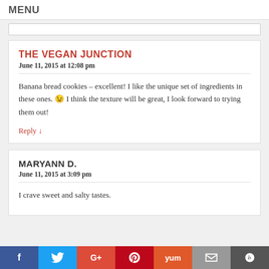MENU
THE VEGAN JUNCTION
June 11, 2015 at 12:08 pm
Banana bread cookies – excellent! I like the unique set of ingredients in these ones. 😉 I think the texture will be great, I look forward to trying them out!
Reply ↓
MARYANN D.
June 11, 2015 at 3:09 pm
I crave sweet and salty tastes.